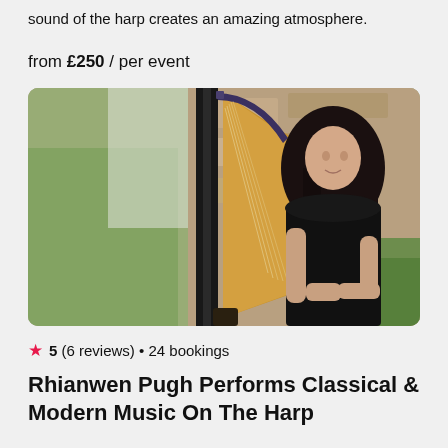sound of the harp creates an amazing atmosphere.
from £250 / per event
[Figure (photo): A woman with long dark hair wearing a black dress playing a large harp outdoors against a stone wall background with green foliage.]
★ 5 (6 reviews) • 24 bookings
Rhianwen Pugh Performs Classical & Modern Music On The Harp
Rhianwen will set the perfect tone for your event with an elegant...